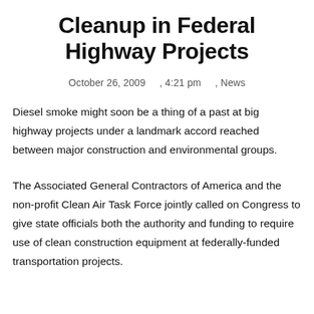Cleanup in Federal Highway Projects
October 26, 2009     , 4:21 pm     , News
Diesel smoke might soon be a thing of a past at big highway projects under a landmark accord reached between major construction and environmental groups.
The Associated General Contractors of America and the non-profit Clean Air Task Force jointly called on Congress to give state officials both the authority and funding to require use of clean construction equipment at federally-funded transportation projects.